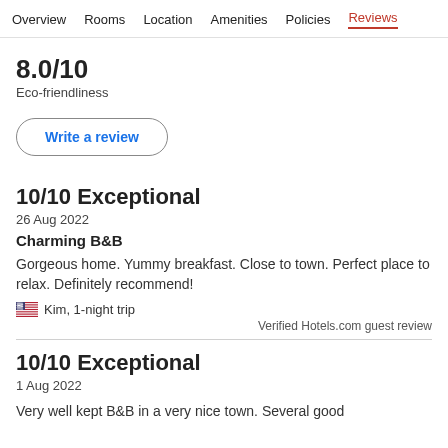Overview  Rooms  Location  Amenities  Policies  Reviews
8.0/10
Eco-friendliness
Write a review
10/10 Exceptional
26 Aug 2022
Charming B&B
Gorgeous home. Yummy breakfast. Close to town. Perfect place to relax. Definitely recommend!
Kim, 1-night trip
Verified Hotels.com guest review
10/10 Exceptional
1 Aug 2022
Very well kept B&B in a very nice town. Several good